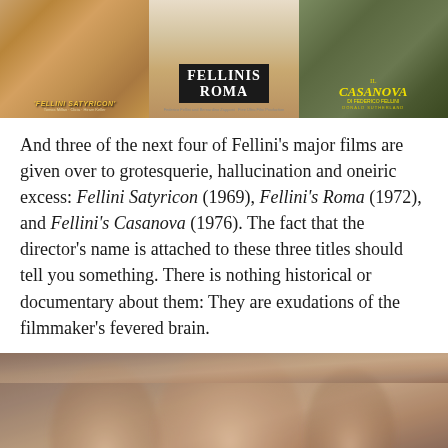[Figure (photo): Three movie posters side by side: Fellini Satyricon (1969), Fellinis Roma (1972), and Il Casanova di Federico Fellini with Donald Sutherland (1976)]
And three of the next four of Fellini's major films are given over to grotesquerie, hallucination and oneiric excess: Fellini Satyricon (1969), Fellini's Roma (1972), and Fellini's Casanova (1976). The fact that the director's name is attached to these three titles should tell you something. There is nothing historical or documentary about them: They are exudations of the filmmaker's fevered brain.
[Figure (photo): A scene from one of Fellini's films showing figures in a dreamlike or grotesque setting with muted earthy tones]